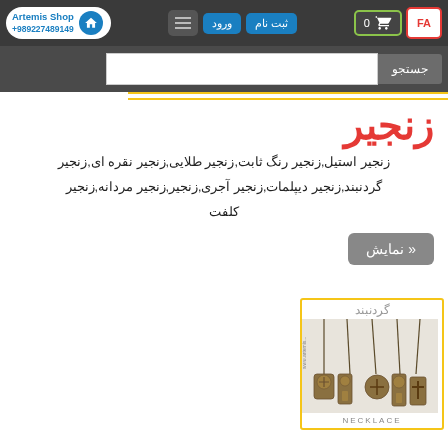Artemis Shop +989227489149 — navigation bar with home, hamburger menu, ورود, ثبت نام, cart, FA buttons
جستجو — search bar
زنجیر
زنجیر استیل,زنجیر رنگ ثابت,زنجیر طلایی,زنجیر نقره ای,زنجیر گردنبند,زنجیر دیپلمات,زنجیر آجری,زنجیر,زنجیر مردانه,زنجیر کلفت
نمایش »
[Figure (photo): Product card showing necklaces with cross and key pendants, labeled گردنبند at top and NECKLACE at bottom, with yellow border]